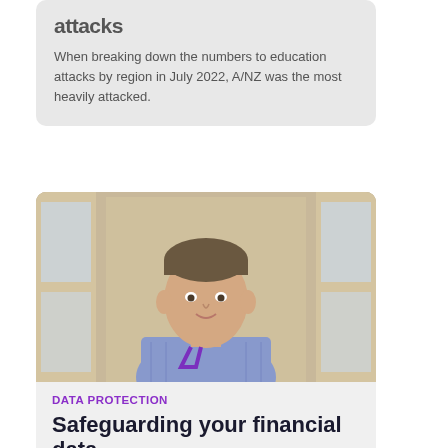attacks
When breaking down the numbers to education attacks by region in July 2022, A/NZ was the most heavily attacked.
[Figure (photo): Portrait photo of a middle-aged man in a blue checkered shirt with a purple lanyard, standing in front of large windows with city buildings visible in the background.]
DATA PROTECTION
Safeguarding your financial data
As the digital revolution marches on, managing data security has never been more important. Here are five